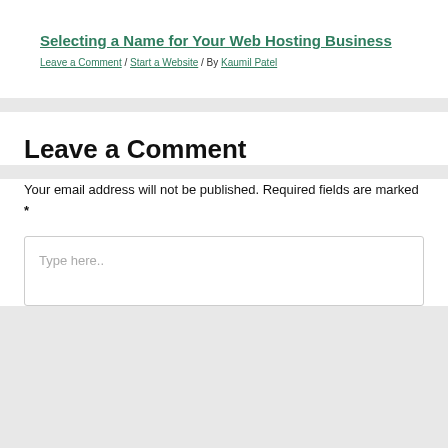Selecting a Name for Your Web Hosting Business
Leave a Comment / Start a Website / By Kaumil Patel
Leave a Comment
Your email address will not be published. Required fields are marked *